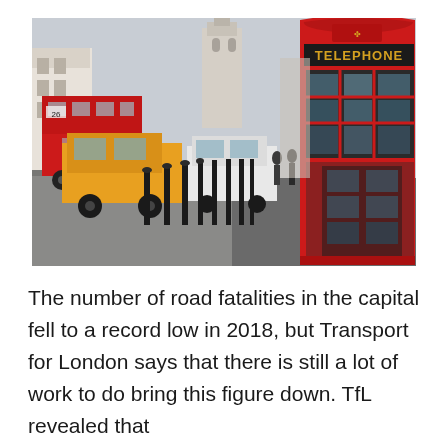[Figure (photo): London street scene with a red double-decker bus, a yellow taxi cab, bollards along the pavement, and a prominent red British telephone box in the foreground with 'TELEPHONE' written on it. Buildings and a church tower are visible in the background.]
The number of road fatalities in the capital fell to a record low in 2018, but Transport for London says that there is still a lot of work to do bring this figure down. TfL revealed that